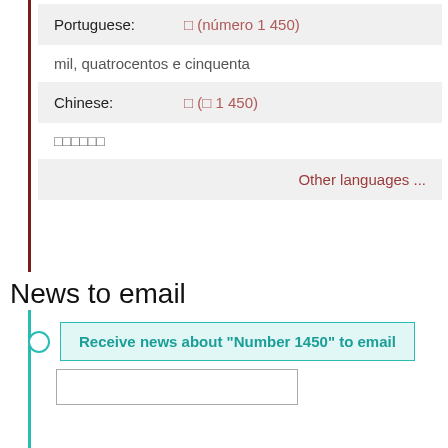| Portuguese: | □ (número 1 450) |
| mil, quatrocentos e cinquenta |  |
| Chinese: | □ (□ 1 450) |
| □□□□□□ |  |
|  | Other languages ... |
News to email
Receive news about "Number 1450" to email
[email input field]